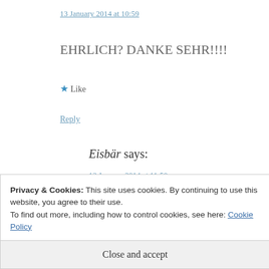13 January 2014 at 10:59
EHRLICH? DANKE SEHR!!!!
★ Like
Reply
Eisbär says:
13 January 2014 at 11:50
Privacy & Cookies: This site uses cookies. By continuing to use this website, you agree to their use.
To find out more, including how to control cookies, see here: Cookie Policy
Close and accept